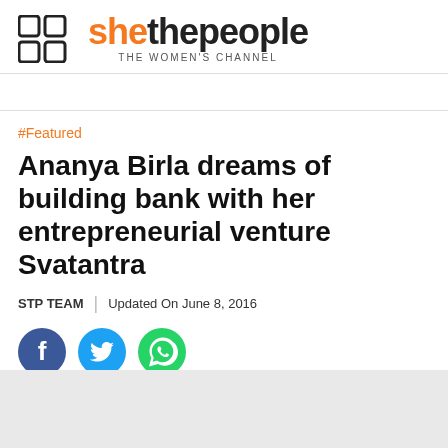shethepeople THE WOMEN'S CHANNEL
#Featured
Ananya Birla dreams of building bank with her entrepreneurial venture Svatantra
STP TEAM | Updated On June 8, 2016
[Figure (other): Social share icons: Facebook (blue circle), Twitter (light blue circle), WhatsApp (green circle)]
[Figure (photo): Article image placeholder (light grey background)]